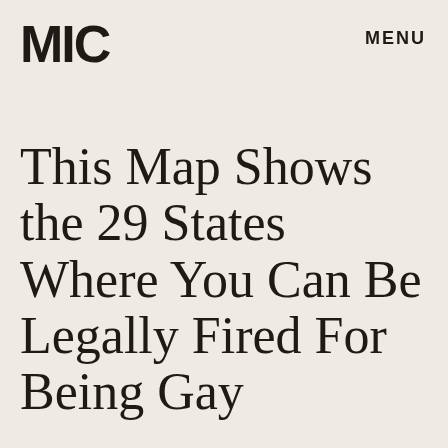MIC   MENU
This Map Shows the 29 States Where You Can Be Legally Fired For Being Gay